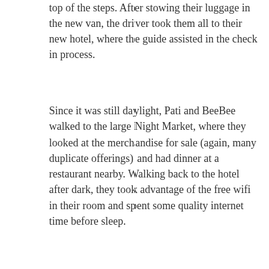top of the steps. After stowing their luggage in the new van, the driver took them all to their new hotel, where the guide assisted in the check in process.
Since it was still daylight, Pati and BeeBee walked to the large Night Market, where they looked at the merchandise for sale (again, many duplicate offerings) and had dinner at a restaurant nearby. Walking back to the hotel after dark, they took advantage of the free wifi in their room and spent some quality internet time before sleep.
SHARE THIS:
[Figure (other): Tweet button (Twitter/X share button)]
[Figure (other): Like button and blogger avatar thumbnails. 4 bloggers like this.]
4 bloggers like this.
RELATED: